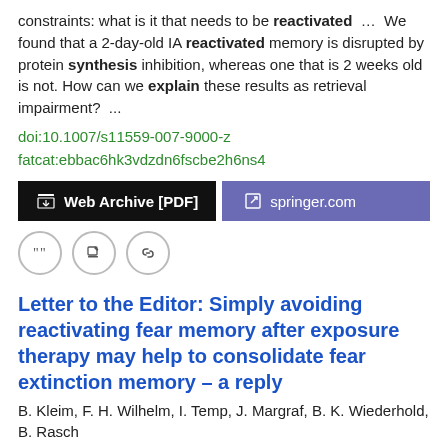constraints: what is it that needs to be reactivated  …  We found that a 2-day-old IA reactivated memory is disrupted by protein synthesis inhibition, whereas one that is 2 weeks old is not. How can we explain these results as retrieval impairment?  ...
doi:10.1007/s11559-007-9000-z
fatcat:ebbac6hk3vdzdn6fscbe2h6ns4
[Figure (other): Two buttons: 'Web Archive [PDF]' on black background and 'springer.com' on purple background]
[Figure (other): Three circular icon buttons: quote, edit, and link]
Letter to the Editor: Simply avoiding reactivating fear memory after exposure therapy may help to consolidate fear extinction memory – a reply
B. Kleim, F. H. Wilhelm, I. Temp, J. Margraf, B. K. Wiederhold, B. Rasch
2014 Psychological Medicine
Simply avoiding reactivating fear memory after exposure therapy may help to consolidate fear extinction memorya reply We thank Dr Dardennes and colleagues (Dardennes et al. 2014) for their thoughtful and  … According to Dardennes and colleagues, the beneficial effects of sleep on memory may not yet account d ...